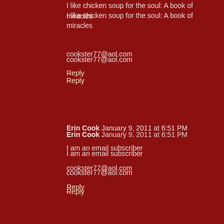I like chicken soup for the soul: A book of miracles
cookster77@aol.com
Reply
Erin Cook  January 9, 2011 at 6:51 PM
I am an email subscriber
cookster77@aol.com
Reply
Unknown  January 9, 2011 at 11:07 PM
Chicken Soup for the Soul: Think Positive sounds interesting. garrettsambo@aol.com
Reply
Donna  January 9, 2011 at 11:15 PM